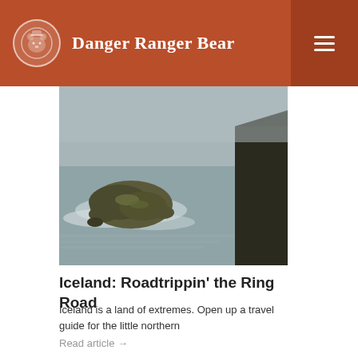Danger Ranger Bear
[Figure (photo): Coastal rocks with waves and a large dark cliff on the right side, overcast sky, Iceland coastline]
Iceland: Roadtrippin’ the Ring Road
Iceland is a land of extremes. Open up a travel guide for the little northern
Read article →
[Figure (photo): Close-up of a black semi-automatic pistol with a red dot sight mounted on top, resting on a snowy rocky surface]